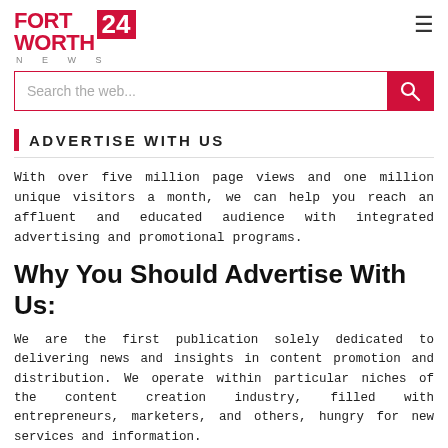FORT WORTH 24 NEWS
ADVERTISE WITH US
With over five million page views and one million unique visitors a month, we can help you reach an affluent and educated audience with integrated advertising and promotional programs.
Why You Should Advertise With Us:
We are the first publication solely dedicated to delivering news and insights in content promotion and distribution. We operate within particular niches of the content creation industry, filled with entrepreneurs, marketers, and others, hungry for new services and information.
Our Goals For You: